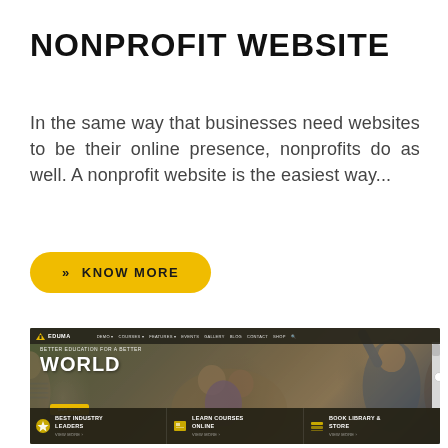NONPROFIT WEBSITE
In the same way that businesses need websites to be their online presence, nonprofits do as well. A nonprofit website is the easiest way...
» KNOW MORE
[Figure (screenshot): Screenshot of the Eduma WordPress theme homepage showing a navigation bar with EDUMA logo and menu links (DEMO, COURSES, FEATURES, EVENTS, GALLERY, BLOG, CONTACT, SHOP), a hero section with the text 'BETTER EDUCATION FOR A BETTER WORLD' over a photo of students in a classroom, a 'BUY NOW' button, and a bottom feature strip with three sections: 'BEST INDUSTRY LEADERS', 'LEARN COURSES ONLINE', and 'BOOK LIBRARY & STORE', each with an icon and a 'VIEW MORE' link.]